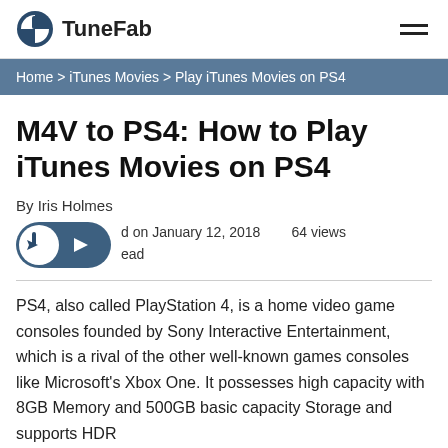TuneFab
Home > iTunes Movies > Play iTunes Movies on PS4
M4V to PS4: How to Play iTunes Movies on PS4
By Iris Holmes
Updated on January 12, 2018   64 views
  read
PS4, also called PlayStation 4, is a home video game consoles founded by Sony Interactive Entertainment, which is a rival of the other well-known games consoles like Microsoft's Xbox One. It possesses high capacity with 8GB Memory and 500GB basic capacity Storage and supports HDR